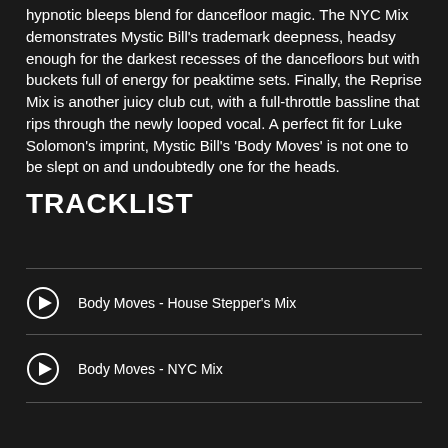hypnotic bleeps blend for dancefloor magic. The NYC Mix demonstrates Mystic Bill's trademark deepness, headsy enough for the darkest recesses of the dancefloors but with buckets full of energy for peaktime sets. Finally, the Reprise Mix is another juicy club cut, with a full-throttle bassline that rips through the newly looped vocal. A perfect fit for Luke Solomon's imprint, Mystic Bill's 'Body Moves' is not one to be slept on and undoubtedly one for the heads.
TRACKLIST
Body Moves - House Stepper's Mix
Body Moves - NYC Mix